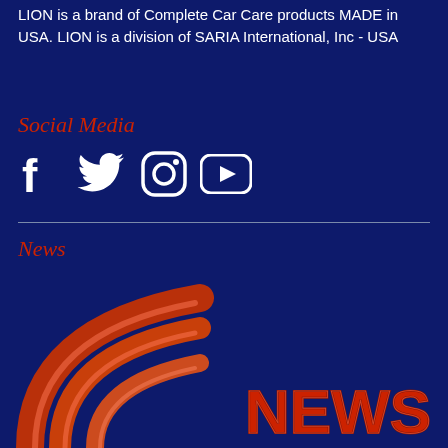LION is a brand of Complete Car Care products MADE in USA. LION is a division of SARIA International, Inc - USA
Social Media
[Figure (illustration): Social media icons: Facebook (f), Twitter (bird), Instagram (camera), YouTube (play button) — white icons on dark blue background]
News
[Figure (illustration): Partial 3D red/orange news logo with curved signal-wave arcs and the word NEWS in bold red 3D letters, on dark navy blue background]